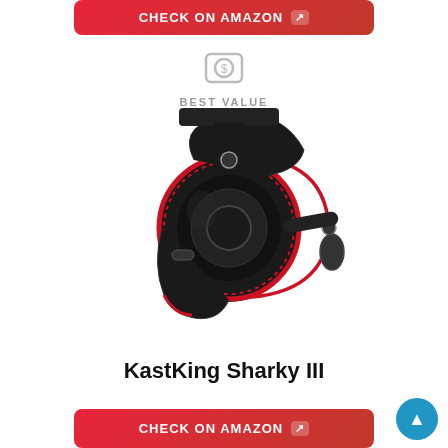[Figure (other): Red CHECK ON AMAZON button at top with external link icon]
[Figure (other): Best Value badge icon — dollar coin in rounded rectangle, gray]
BEST VALUE
[Figure (photo): KastKing Sharky III spinning fishing reel, black and red, on white background]
KastKing Sharky III
[Figure (other): Red CHECK ON AMAZON button at bottom with external link icon]
[Figure (other): Blue circular scroll-to-top button with upward triangle arrow, bottom right]